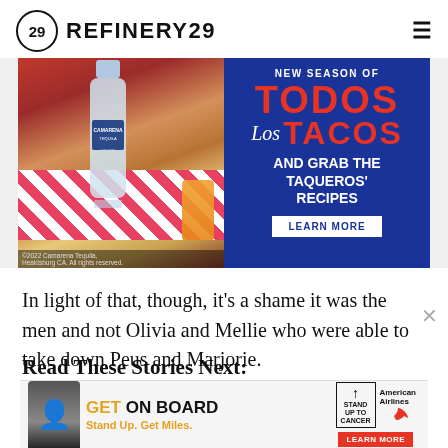REFINERY29
[Figure (photo): Advertisement showing Camarena Tequila bottle on a checkered tablecloth next to a drink, combined with a blue promotional banner reading 'NEW SEASON OF TODOS Los TACOS AND GRAB THE TAQUEROS' RECIPES' with a LEARN MORE button. Copyright 2022 Camarena Tequila, Healdsburg CA. All rights reserved.]
In light of that, though, it's a shame it was the men and not Olivia and Mellie who were able to take down Peus and Marjorie.
Read These Stories Next:
[Figure (screenshot): Bottom advertisement for American Airlines 'GET ON BOARD' Stand Up To Cancer campaign. Features a woman, the text 'GET ON BOARD Stand Up. Get Miles.' and a LEARN MORE button with American Airlines logo.]